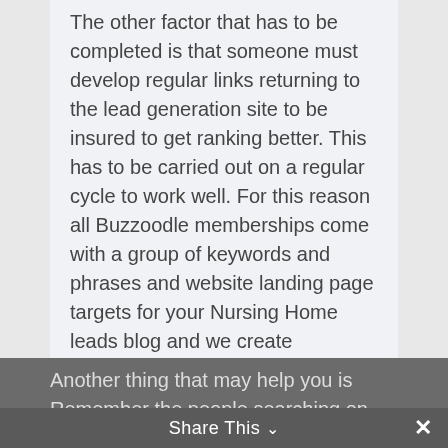The other factor that has to be completed is that someone must develop regular links returning to the lead generation site to be insured to get ranking better. This has to be carried out on a regular cycle to work well. For this reason all Buzzoodle memberships come with a group of keywords and phrases and website landing page targets for your Nursing Home leads blog and we create backlinks on your behalf to your specified pages and with the chosen anchor text.
Another thing that may help you is Remember the people searching on